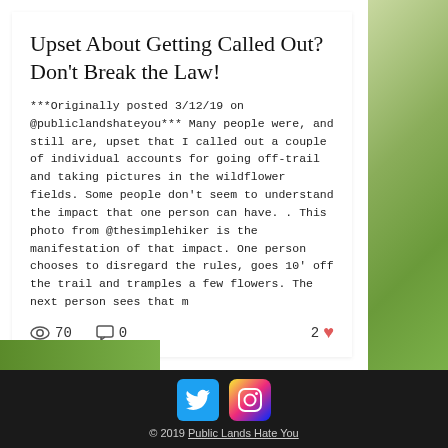Upset About Getting Called Out? Don't Break the Law!
***Originally posted 3/12/19 on @publiclandshateyou*** Many people were, and still are, upset that I called out a couple of individual accounts for going off-trail and taking pictures in the wildflower fields. Some people don't seem to understand the impact that one person can have. . This photo from @thesimplehiker is the manifestation of that impact. One person chooses to disregard the rules, goes 10' off the trail and tramples a few flowers. The next person sees that m
[Figure (infographic): Stats bar showing 70 views, 0 comments, 2 likes with heart icon]
[Figure (infographic): Footer with Twitter and Instagram icons and copyright notice for Public Lands Hate You 2019]
© 2019 Public Lands Hate You